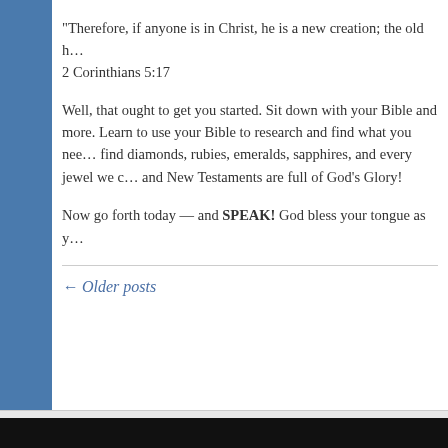“Therefore, if anyone is in Christ, he is a new creation; the old h…
2 Corinthians 5:17
Well, that ought to get you started. Sit down with your Bible and… more. Learn to use your Bible to research and find what you nee… find diamonds, rubies, emeralds, sapphires, and every jewel we c… and New Testaments are full of God’s Glory!
Now go forth today — and SPEAK! God bless your tongue as y…
← Older posts
Proudly powered by W…